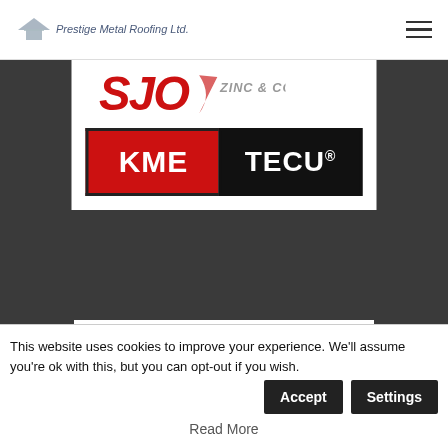Prestige Metal Roofing Ltd.
[Figure (logo): SJO Zinc & Copper logo — red bold italic SJO text with a swoosh, ZINC & COPPER in grey italic]
[Figure (logo): KME TECU® logo — red block with white KME text on left, black block with white TECU® text on right]
[Figure (logo): RHEINZINK® logo — grey square icon with stylized R and bold black RHEINZINK® wordmark]
This website uses cookies to improve your experience. We'll assume you're ok with this, but you can opt-out if you wish.
Read More